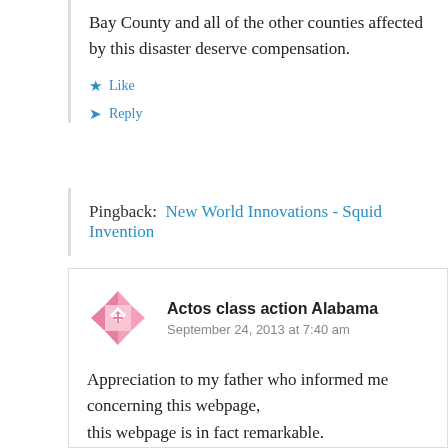Bay County and all of the other counties affected by this disaster deserve compensation.
Like
Reply
Pingback: New World Innovations - Squid Invention
Actos class action Alabama
September 24, 2013 at 7:40 am
Appreciation to my father who informed me concerning this webpage, this webpage is in fact remarkable.